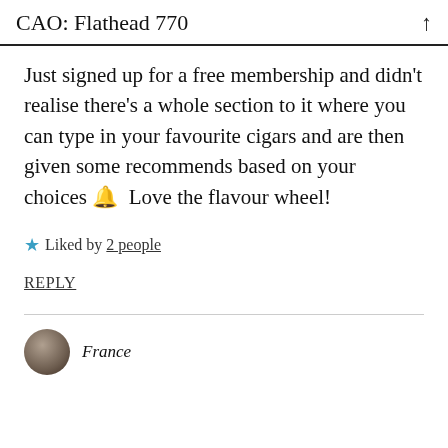CAO: Flathead 770
Just signed up for a free membership and didn't realise there's a whole section to it where you can type in your favourite cigars and are then given some recommends based on your choices 🔔 Love the flavour wheel!
★ Liked by 2 people
REPLY
France